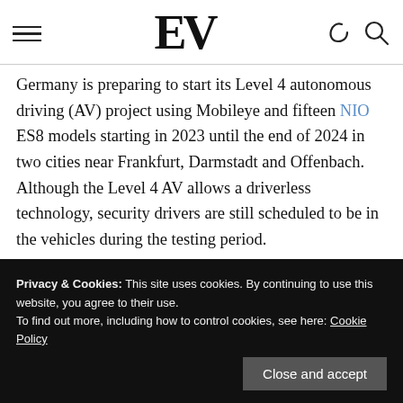EV (logo)
Germany is preparing to start its Level 4 autonomous driving (AV) project using Mobileye and fifteen NIO ES8 models starting in 2023 until the end of 2024 in two cities near Frankfurt, Darmstadt and Offenbach. Although the Level 4 AV allows a driverless technology, security drivers are still scheduled to be in the vehicles during the testing period.
“The plan is for the first vehicles in autonomous Level 4 to travel through Darmstadt and the Offenbach district throughout...
Privacy & Cookies: This site uses cookies. By continuing to use this website, you agree to their use. To find out more, including how to control cookies, see here: Cookie Policy
Close and accept